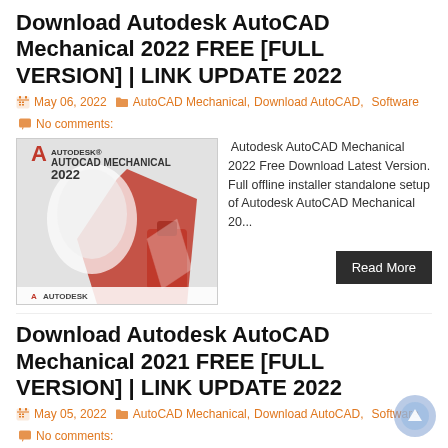Download Autodesk AutoCAD Mechanical 2022 FREE [FULL VERSION] | LINK UPDATE 2022
May 06, 2022  AutoCAD Mechanical, Download AutoCAD, Software  No comments:
[Figure (photo): Autodesk AutoCAD Mechanical 2022 product cover art showing the Autodesk logo and red/white 3D design elements]
Autodesk AutoCAD Mechanical 2022 Free Download Latest Version. Full offline installer standalone setup of Autodesk AutoCAD Mechanical 20...
Download Autodesk AutoCAD Mechanical 2021 FREE [FULL VERSION] | LINK UPDATE 2022
May 05, 2022  AutoCAD Mechanical, Download AutoCAD, Software  No comments:
[Figure (screenshot): Autodesk AutoCAD Mechanical 2021 product cover thumbnail (partially visible)]
Autodesk AutoCAD Mechanical 2021